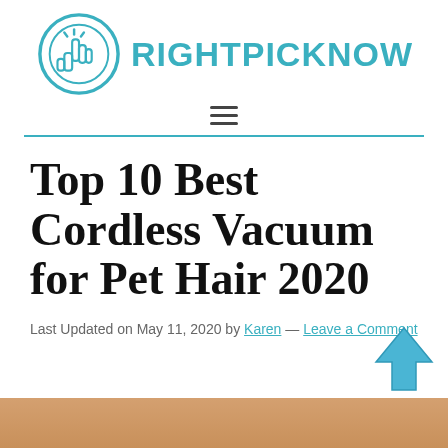[Figure (logo): RightPickNow logo with hand pointer icon inside a teal circle and the text RIGHTPICKNOW in teal bold font]
Top 10 Best Cordless Vacuum for Pet Hair 2020
Last Updated on May 11, 2020 by Karen — Leave a Comment
[Figure (photo): Bottom portion of a wooden surface or pet-related image, partially visible at the bottom of the page]